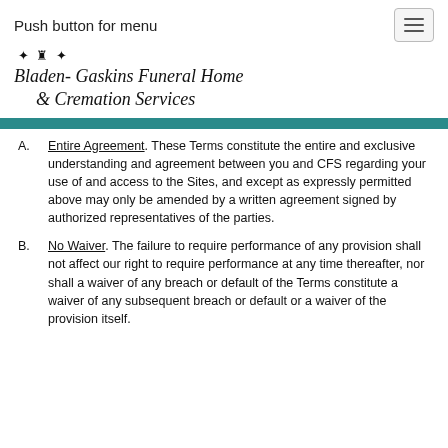Push button for menu
[Figure (logo): Bladen-Gaskins Funeral Home & Cremation Services logo with decorative script text and ornament]
Entire Agreement. These Terms constitute the entire and exclusive understanding and agreement between you and CFS regarding your use of and access to the Sites, and except as expressly permitted above may only be amended by a written agreement signed by authorized representatives of the parties.
No Waiver. The failure to require performance of any provision shall not affect our right to require performance at any time thereafter, nor shall a waiver of any breach or default of the Terms constitute a waiver of any subsequent breach or default or a waiver of the provision itself.